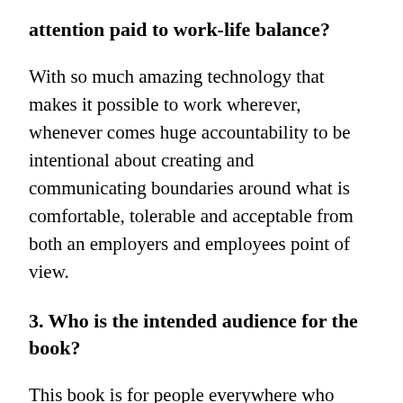attention paid to work-life balance?
With so much amazing technology that makes it possible to work wherever, whenever comes huge accountability to be intentional about creating and communicating boundaries around what is comfortable, tolerable and acceptable from both an employers and employees point of view.
3. Who is the intended audience for the book?
This book is for people everywhere who believe is possible to create easy joy and meaningful